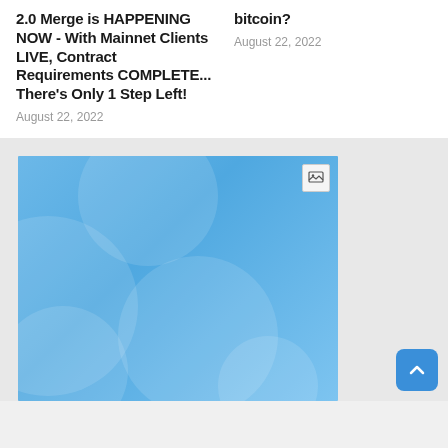2.0 Merge is HAPPENING NOW - With Mainnet Clients LIVE, Contract Requirements COMPLETE... There's Only 1 Step Left!
August 22, 2022
bitcoin?
August 22, 2022
[Figure (illustration): A blue gradient rectangular image placeholder with diagonal swirl patterns and a small image/media icon in the top right corner.]
back to top button